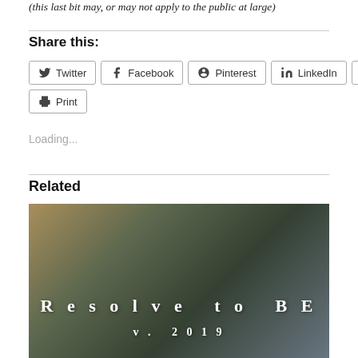(this last bit may, or may not apply to the public at large)
Share this:
Twitter  Facebook  Pinterest  LinkedIn  Email  Print
Loading...
Related
[Figure (photo): Photo showing a person in jeans sitting outdoors with a drink, overlaid with text 'Resolve to BE v. 2019']